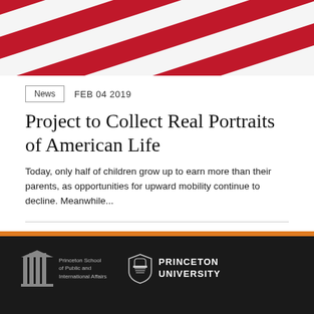[Figure (photo): Close-up diagonal red and white stripes, resembling an American flag]
News   FEB 04 2019
Project to Collect Real Portraits of American Life
Today, only half of children grow up to earn more than their parents, as opportunities for upward mobility continue to decline. Meanwhile...
[Figure (logo): Princeton School of Public and International Affairs logo and Princeton University logo on black footer bar with orange accent stripe]